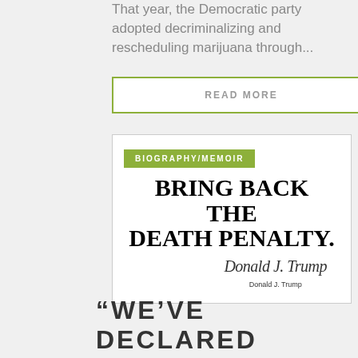That year, the Democratic party adopted decriminalizing and rescheduling marijuana through...
READ MORE
[Figure (photo): Book cover image with green 'BIOGRAPHY/MEMOIR' tag. Large bold text reads 'BRING BACK THE DEATH PENALTY.' with a signature of Donald J. Trump below.]
“WE’VE DECLARED